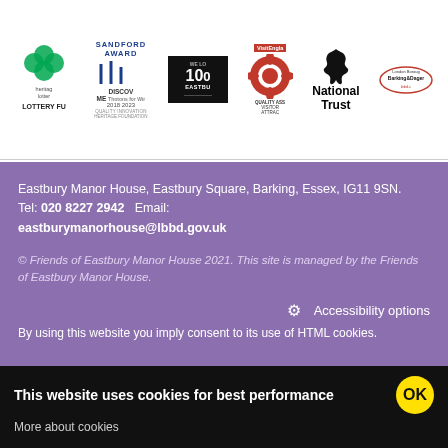[Figure (logo): Row of partner/accreditation logos: Lottery Fund (Heritage Lottery), Sandford Award / Discover ME 2018-2023, We Love Eastbury (black box), VisitEngland Quality Assured Visitor Attraction (rose logo), National Trust (oak leaf), London Borough Barking & Dagenham (ibbd.gov.uk)]
Eastbury Manor House, Eastbury Square, Barking, Essex, IG11 9SN.  Tel: 020 8227 2942  Email: eastburymanorhouse@lbbd.gov.uk
© Friends of Eastbury Manor House 2021. This site is managed by the Friends of Eastbury Manor House.
⚙ Accessibility options
By using this website you imply consent to its use of HTML cookies.
This website uses cookies for best performance  OK
More about cookies